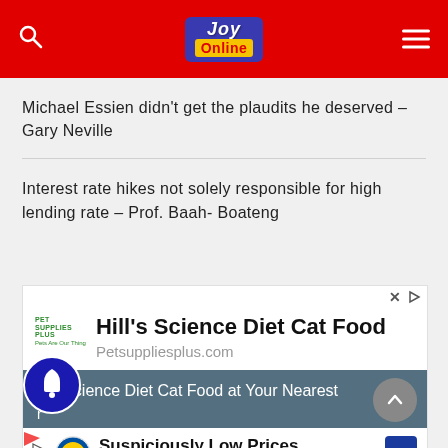[Figure (logo): Joy Online website header with red background, search icon on left, Joy Online logo in center, hamburger menu on right]
Michael Essien didn't get the plaudits he deserved – Gary Neville
Interest rate hikes not solely responsible for high lending rate – Prof. Baah- Boateng
[Figure (screenshot): Advertisement for Hill's Science Diet Cat Food from Pet Supplies Plus, showing the product name, website Petsuppliesplus.com, and a teal banner with promotional text. Below is a Lidl ad for Suspiciously Low Prices.]